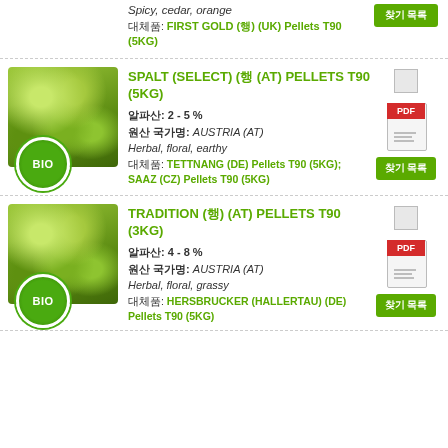Spicy, cedar, orange
대체품: FIRST GOLD (홉) (UK) Pellets T90 (5KG)
[Figure (photo): Green hop product photo with BIO badge]
SPALT (SELECT) (홉 (AT) PELLETS T90 (5KG)
알파산: 2 - 5 %
원산 국가명: AUSTRIA (AT)
Herbal, floral, earthy
대체품: TETTNANG (DE) Pellets T90 (5KG); SAAZ (CZ) Pellets T90 (5KG)
[Figure (photo): Green hop product photo with BIO badge]
TRADITION (홉) (AT) PELLETS T90 (3KG)
알파산: 4 - 8 %
원산 국가명: AUSTRIA (AT)
Herbal, floral, grassy
대체품: HERSBRUCKER (HALLERTAU) (DE) Pellets T90 (5KG)